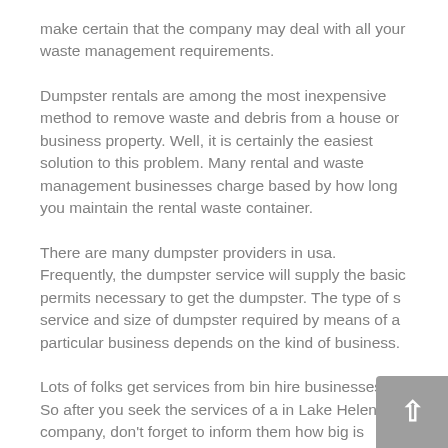make certain that the company may deal with all your waste management requirements.
Dumpster rentals are among the most inexpensive method to remove waste and debris from a house or business property. Well, it is certainly the easiest solution to this problem. Many rental and waste management businesses charge based by how long you maintain the rental waste container.
There are many dumpster providers in usa. Frequently, the dumpster service will supply the basic permits necessary to get the dumpster. The type of s service and size of dumpster required by means of a particular business depends on the kind of business.
Lots of folks get services from bin hire businesses. So after you seek the services of a in Lake Helen company, don't forget to inform them how big is dumpster you require. Abiding by these suggestions, you will be able to discover the right Lake Helen